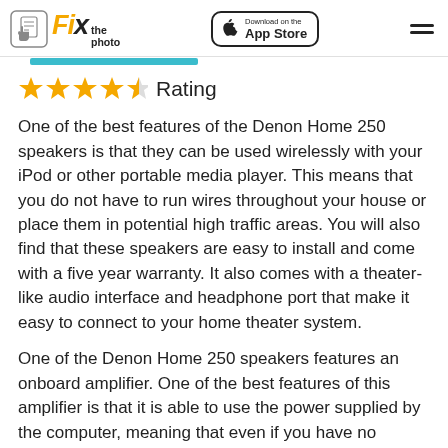Fix the photo | Download on the App Store
★★★★½ Rating
One of the best features of the Denon Home 250 speakers is that they can be used wirelessly with your iPod or other portable media player. This means that you do not have to run wires throughout your house or place them in potential high traffic areas. You will also find that these speakers are easy to install and come with a five year warranty. It also comes with a theater-like audio interface and headphone port that make it easy to connect to your home theater system.
One of the Denon Home 250 speakers features an onboard amplifier. One of the best features of this amplifier is that it is able to use the power supplied by the computer, meaning that even if you have no